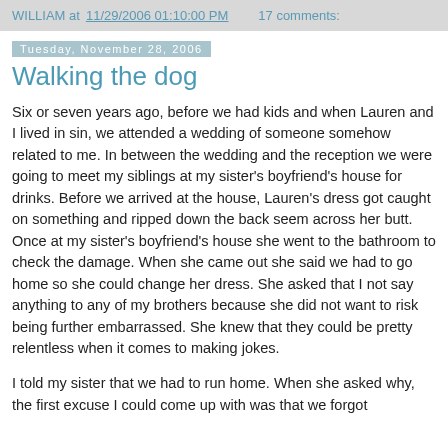WILLIAM at 11/29/2006 01:10:00 PM   17 comments:
Tuesday, November 28, 2006
Walking the dog
Six or seven years ago, before we had kids and when Lauren and I lived in sin, we attended a wedding of someone somehow related to me. In between the wedding and the reception we were going to meet my siblings at my sister's boyfriend's house for drinks. Before we arrived at the house, Lauren's dress got caught on something and ripped down the back seem across her butt. Once at my sister's boyfriend's house she went to the bathroom to check the damage. When she came out she said we had to go home so she could change her dress. She asked that I not say anything to any of my brothers because she did not want to risk being further embarrassed. She knew that they could be pretty relentless when it comes to making jokes.
I told my sister that we had to run home. When she asked why, the first excuse I could come up with was that we forgot